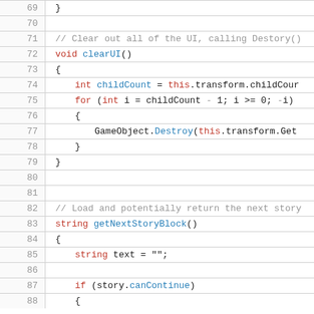[Figure (screenshot): Code editor screenshot showing lines 69-88 of a C# script with line numbers, syntax highlighting. Lines include clearUI() method and getNextStoryBlock() method beginnings.]